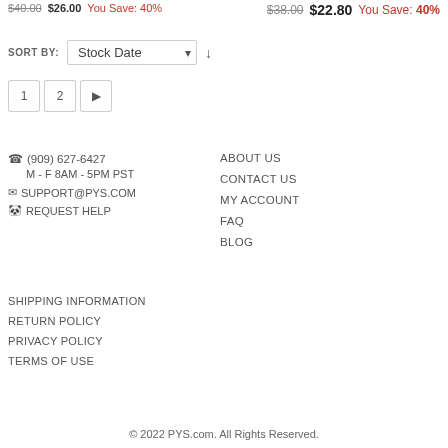$40.00 $26.00 You Save: 40%
$38.00 $22.80 You Save: 40%
SORT BY: Stock Date
1 2 ▶
☎ (909) 627-6427
M - F 8AM - 5PM PST
✉ SUPPORT@PYS.COM
🐼 REQUEST HELP
ABOUT US
CONTACT US
MY ACCOUNT
FAQ
BLOG
SHIPPING INFORMATION
RETURN POLICY
PRIVACY POLICY
TERMS OF USE
© 2022 PYS.com. All Rights Reserved.